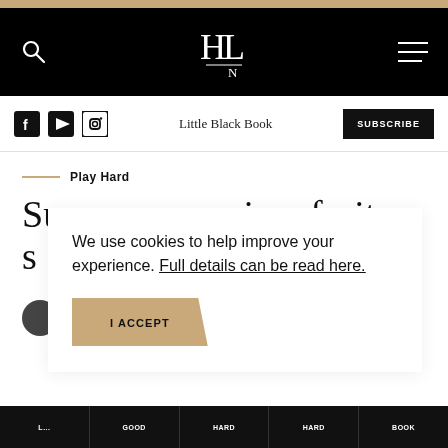HLN website header with search, logo, and menu
Facebook YouTube Instagram   Little Black Book   SUBSCRIBE
Play Hard
Super easy recipe: fruit s...
We use cookies to help improve your experience. Full details can be read here.
I ACCEPT
L... GOOD  GOOD  HARD  HARD  BOOK